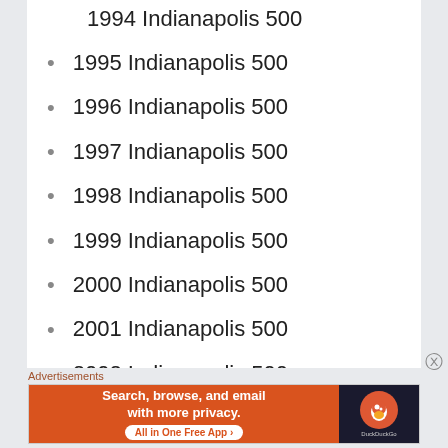1995 Indianapolis 500
1996 Indianapolis 500
1997 Indianapolis 500
1998 Indianapolis 500
1999 Indianapolis 500
2000 Indianapolis 500
2001 Indianapolis 500
2002 Indianapolis 500
2003 Indianapolis 500
2004 Indianapolis 500
Advertisements
[Figure (screenshot): DuckDuckGo advertisement banner: Search, browse, and email with more privacy. All in One Free App.]